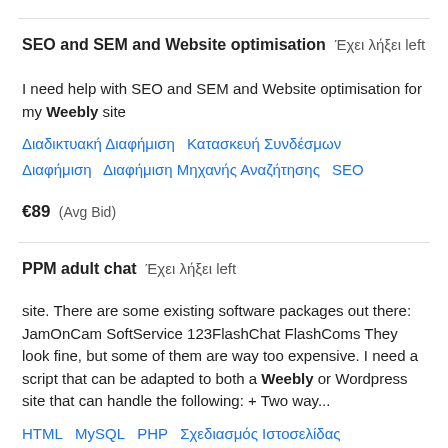SEO and SEM and Website optimisation  Έχει λήξει left
I need help with SEO and SEM and Website optimisation for my Weebly site
Διαδικτυακή Διαφήμιση   Κατασκευή Συνδέσμων Διαφήμιση   Διαφήμιση Μηχανής Αναζήτησης   SEO
€89  (Avg Bid)
PPM adult chat  Έχει λήξει left
site. There are some existing software packages out there: JamOnCam SoftService 123FlashChat FlashComs They look fine, but some of them are way too expensive. I need a script that can be adapted to both a Weebly or Wordpress site that can handle the following: + Two way...
HTML   MySQL   PHP   Σχεδιασμός Ιστοσελίδας